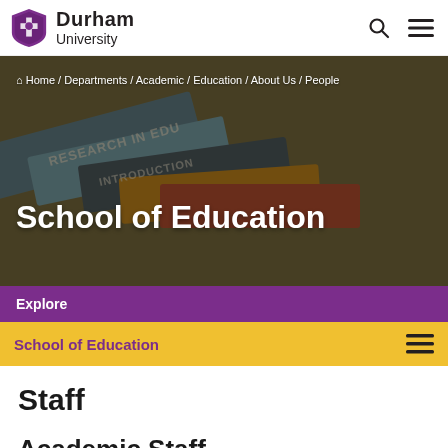[Figure (logo): Durham University logo with purple shield/crest icon and text 'Durham University']
[Figure (photo): Background hero image of stacked educational books/journals with blurred text on spines, overlaid with breadcrumb navigation and 'School of Education' title]
Home / Departments / Academic / Education / About Us / People
School of Education
Explore
School of Education
Staff
Academic Staff